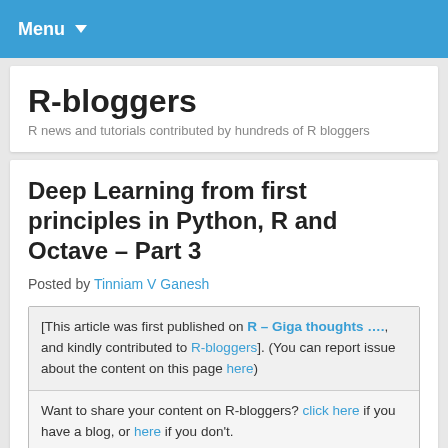Menu ▾
R-bloggers
R news and tutorials contributed by hundreds of R bloggers
Deep Learning from first principles in Python, R and Octave – Part 3
Posted by Tinniam V Ganesh
[This article was first published on R – Giga thoughts …., and kindly contributed to R-bloggers]. (You can report issue about the content on this page here)
Want to share your content on R-bloggers? click here if you have a blog, or here if you don't.
[Figure (other): Social share buttons: Facebook (blue) and Twitter (cyan)]